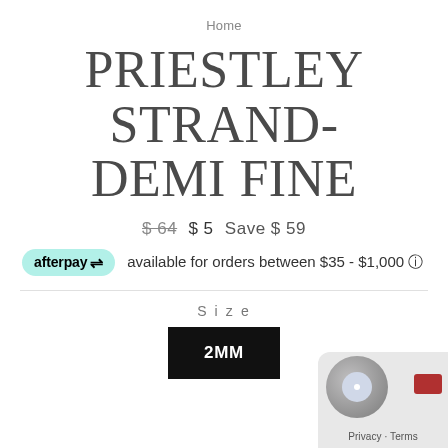Home
PRIESTLEY STRAND- DEMI FINE
$ 64  $ 5  Save $ 59
afterpay  available for orders between $35 - $1,000 ℹ
Size
2MM